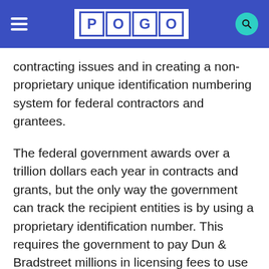POGO
contracting issues and in creating a non-proprietary unique identification numbering system for federal contractors and grantees.
The federal government awards over a trillion dollars each year in contracts and grants, but the only way the government can track the recipient entities is by using a proprietary identification number. This requires the government to pay Dun & Bradstreet millions in licensing fees to use